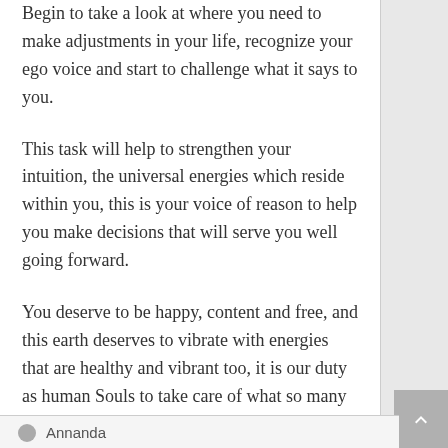Begin to take a look at where you need to make adjustments in your life, recognize your ego voice and start to challenge what it says to you.
This task will help to strengthen your intuition, the universal energies which reside within you, this is your voice of reason to help you make decisions that will serve you well going forward.
You deserve to be happy, content and free, and this earth deserves to vibrate with energies that are healthy and vibrant too, it is our duty as human Souls to take care of what so many take for granted.
Much love and devotion
Annanda
Annanda